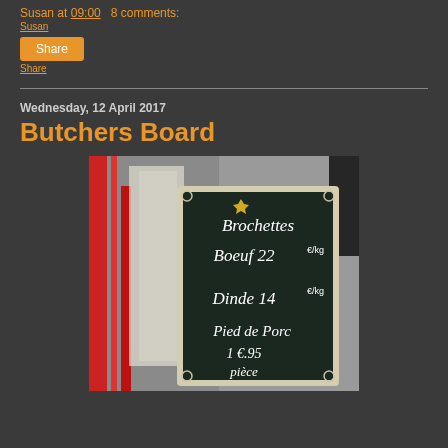Susan at 09:00   8 comments:
Share
Wednesday, 12 April 2017
Butchers Board
[Figure (photo): Photo of a French butcher's chalkboard sign outside a shop showing prices: Brochettes Boeuf 22 €/kg, Dinde 14 €/kg, Pied de Porc 1 €.95 pièce]